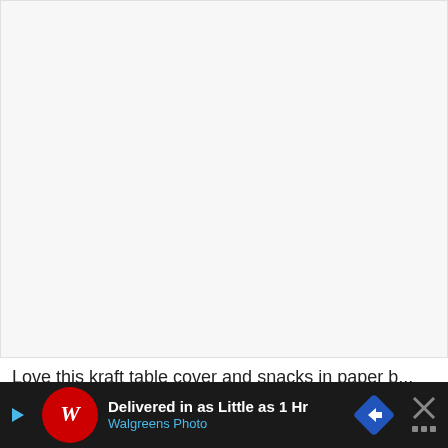[Figure (photo): Large white/light gray blank rectangular area occupying most of the upper portion of the page, resembling a product image placeholder or empty document area.]
Love this kraft table cover and snacks in paper b...
[Figure (infographic): Advertisement banner at bottom: Walgreens Photo ad with logo, text 'Delivered in as Little as 1 Hr' and 'Walgreens Photo', a blue navigation arrow icon, and a close button with X mark on dark background.]